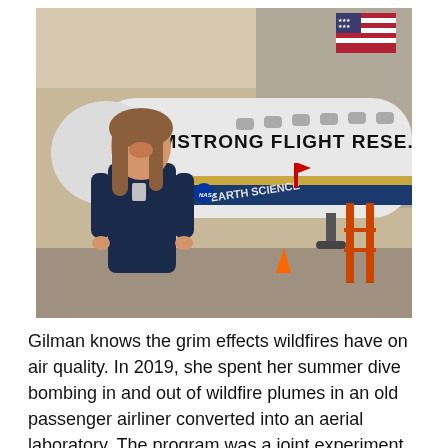[Figure (photo): A woman in a dark blue polo shirt with an ID badge stands smiling in front of a large white and blue aircraft inside a hangar. The aircraft bears the text 'ARMSTRONG FLIGHT RESEARCH' and 'EARTH SCIENCE' with a NASA logo. An American flag is visible in the upper right background.]
Gilman knows the grim effects wildfires have on air quality. In 2019, she spent her summer dive bombing in and out of wildfire plumes in an old passenger airliner converted into an aerial laboratory. The program was a joint experiment by NASA and NOAA to study the impact of wildfire smoke on air quality in order to improve weather and climate forecasts. Scientists from around the